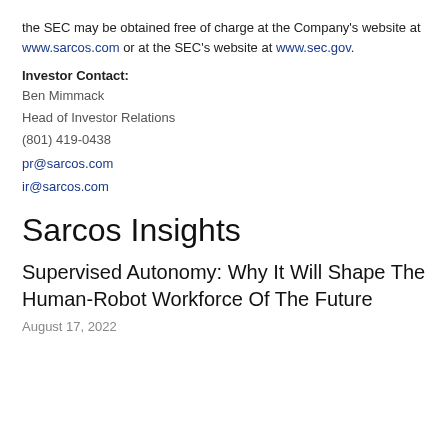the SEC may be obtained free of charge at the Company's website at www.sarcos.com or at the SEC's website at www.sec.gov.
Investor Contact:
Ben Mimmack
Head of Investor Relations
(801) 419-0438
pr@sarcos.com
ir@sarcos.com
Sarcos Insights
Supervised Autonomy: Why It Will Shape The Human-Robot Workforce Of The Future
August 17, 2022